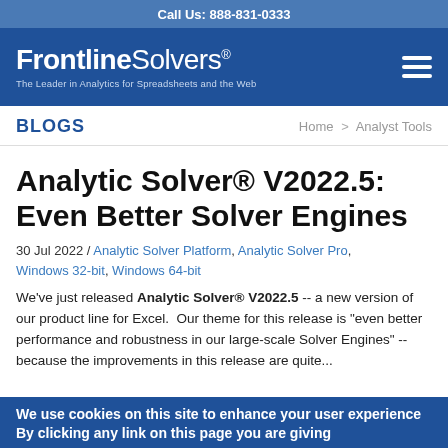Call Us: 888-831-0333
[Figure (logo): FrontlineSolvers logo with tagline: The Leader in Analytics for Spreadsheets and the Web]
BLOGS
Home > Analyst Tools
Analytic Solver® V2022.5: Even Better Solver Engines
30 Jul 2022 / Analytic Solver Platform, Analytic Solver Pro, Windows 32-bit, Windows 64-bit
We've just released Analytic Solver® V2022.5 -- a new version of our product line for Excel.  Our theme for this release is "even better performance and robustness in our large-scale Solver Engines" -- because the improvements in this release are quite...
We use cookies on this site to enhance your user experienceBy clicking any link on this page you are giving